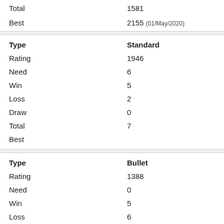| Field | Value |
| --- | --- |
| Total | 1581 |
| Best | 2155 (01/May/2020) |
| Field | Value |
| --- | --- |
| Type | Standard |
| Rating | 1946 |
| Need | 6 |
| Win | 5 |
| Loss | 2 |
| Draw | 0 |
| Total | 7 |
| Best |  |
| Field | Value |
| --- | --- |
| Type | Bullet |
| Rating | 1388 |
| Need | 0 |
| Win | 5 |
| Loss | 6 |